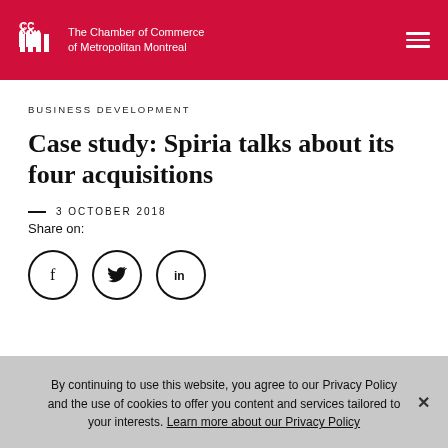The Chamber of Commerce of Metropolitan Montreal
BUSINESS DEVELOPMENT
Case study: Spiria talks about its four acquisitions
— 3 OCTOBER 2018
Share on:
[Figure (infographic): Social sharing icons: Facebook, Twitter, LinkedIn circles]
By continuing to use this website, you agree to our Privacy Policy and the use of cookies to offer you content and services tailored to your interests. Learn more about our Privacy Policy